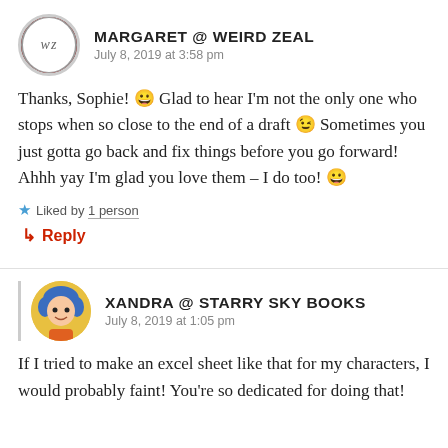[Figure (illustration): Avatar for Margaret @ Weird Zeal: circular logo with dark red border and WZ text inside]
MARGARET @ WEIRD ZEAL
July 8, 2019 at 3:58 pm
Thanks, Sophie! 😀 Glad to hear I'm not the only one who stops when so close to the end of a draft 😉 Sometimes you just gotta go back and fix things before you go forward!
Ahhh yay I'm glad you love them – I do too! 😀
Liked by 1 person
↳ Reply
[Figure (illustration): Avatar for Xandra @ Starry Sky Books: cartoon girl with blue hair and yellow top]
XANDRA @ STARRY SKY BOOKS
July 8, 2019 at 1:05 pm
If I tried to make an excel sheet like that for my characters, I would probably faint! You're so dedicated for doing that!